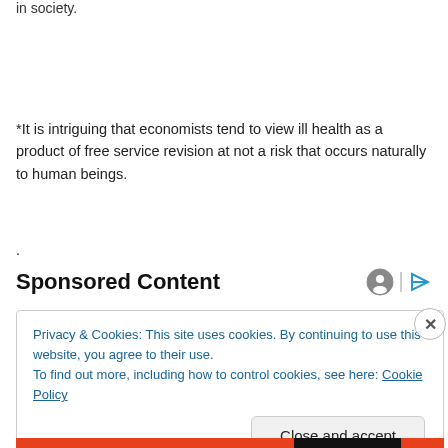in society.
*It is intriguing that economists tend to view ill health as a product of free service revision at not a risk that occurs naturally to human beings.
.
Sponsored Content
Privacy & Cookies: This site uses cookies. By continuing to use this website, you agree to their use.
To find out more, including how to control cookies, see here: Cookie Policy